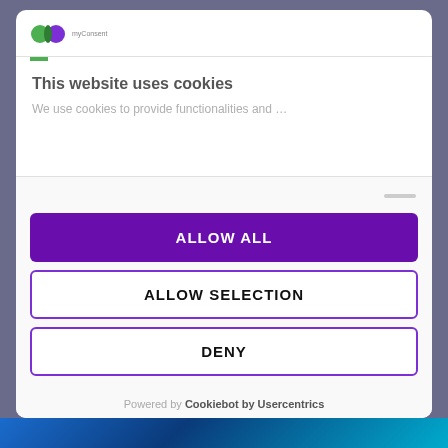[Figure (logo): myConsent logo with green and purple circular icons and 'myConsent' text]
This website uses cookies
We use cookies to provide functionalities and ...
ALLOW ALL
ALLOW SELECTION
DENY
Powered by Cookiebot by Usercentrics